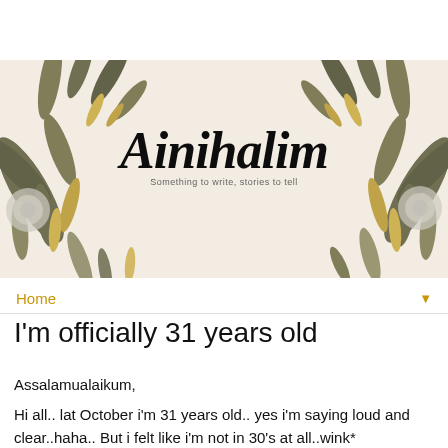[Figure (illustration): Blog header banner with floral/leaf botanical illustration on a cream/beige background. Center displays blog name 'Ainihalim' in large italic script font with subtitle 'Something to write, stories to tell' beneath it. Decorative olive-green leaves, golden leaves, and grey/white chrysanthemum-like flowers surround the text.]
Home ▼
I'm officially 31 years old
Assalamualaikum,
Hi all.. lat October i'm 31 years old.. yes i'm saying loud and clear..haha.. But i felt like i'm not in 30's at all..wink*